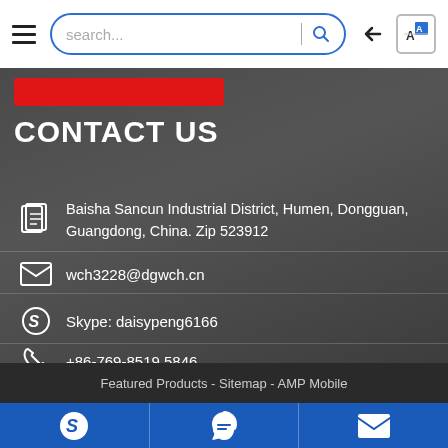search...
CONTACT US
Baisha Sancun Industrial District, Humen, Dongguan, Guangdong, China. Zip 523912
wch3228@dgwch.cn
Skype: daisypeng6166
+86-769-8519 5846
Featured Products - Sitemap - AMP Mobile